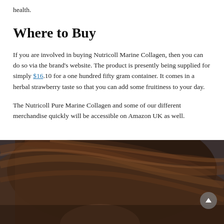health.
Where to Buy
If you are involved in buying Nutricoll Marine Collagen, then you can do so via the brand's website. The product is presently being supplied for simply $16.10 for a one hundred fifty gram container. It comes in a herbal strawberry taste so that you can add some fruitiness to your day.
The Nutricoll Pure Marine Collagen and some of our different merchandise quickly will be accessible on Amazon UK as well.
[Figure (photo): Photo of a woman with long dark brown hair, partial face visible, dark background]